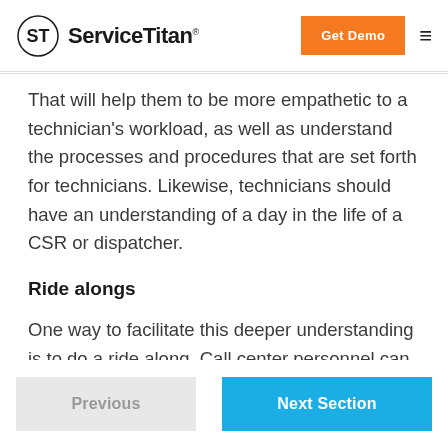ServiceTitan | Get Demo
That will help them to be more empathetic to a technician's workload, as well as understand the processes and procedures that are set forth for technicians. Likewise, technicians should have an understanding of a day in the life of a CSR or dispatcher.
Ride alongs
One way to facilitate this deeper understanding is to do a ride along. Call center personnel can ride along
Previous | Next Section